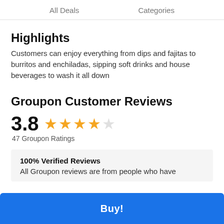All Deals    Categories
Highlights
Customers can enjoy everything from dips and fajitas to burritos and enchiladas, sipping soft drinks and house beverages to wash it all down
Groupon Customer Reviews
3.8  ★★★★☆  47 Groupon Ratings
100% Verified Reviews
All Groupon reviews are from people who have
Buy!